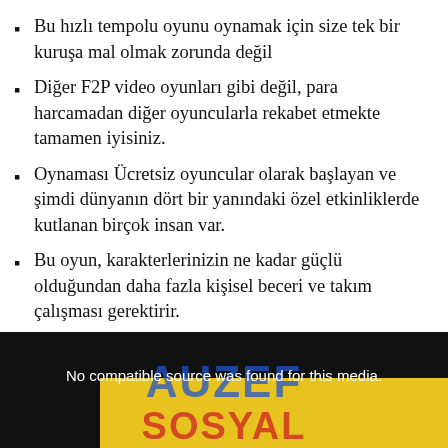Bu hızlı tempolu oyunu oynamak için size tek bir kuruşa mal olmak zorunda değil
Diğer F2P video oyunları gibi değil, para harcamadan diğer oyuncularla rekabet etmekte tamamen iyisiniz.
Oynaması Ücretsiz oyuncular olarak başlayan ve şimdi dünyanın dört bir yanındaki özel etkinliklerde kutlanan birçok insan var.
Bu oyun, karakterlerinizin ne kadar güçlü olduğundan daha fazla kişisel beceri ve takım çalışması gerektirir.
[Figure (screenshot): A media player placeholder showing 'No compatible source was found for this media.' text with AUZEF SOSYAL branding visible in the background.]